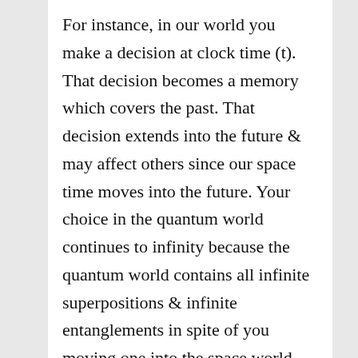For instance, in our world you make a decision at clock time (t). That decision becomes a memory which covers the past. That decision extends into the future & may affect others since our space time moves into the future. Your choice in the quantum world continues to infinity because the quantum world contains all infinite superpositions & infinite entanglements in spite of you moving one into the space world. For instance entanglement between two photons is immediate because the photon exists both in our space world & the quantum world based on units of time. The downside is the information can only be sent in our limited based space world which has the speed of light.